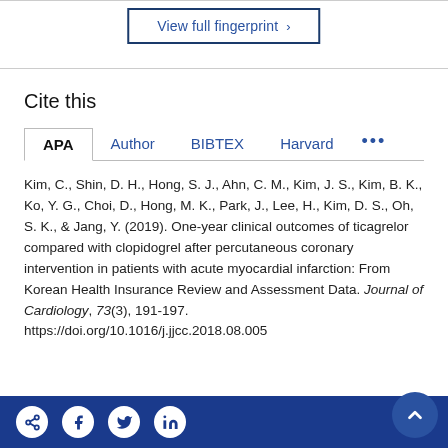View full fingerprint >
Cite this
Kim, C., Shin, D. H., Hong, S. J., Ahn, C. M., Kim, J. S., Kim, B. K., Ko, Y. G., Choi, D., Hong, M. K., Park, J., Lee, H., Kim, D. S., Oh, S. K., & Jang, Y. (2019). One-year clinical outcomes of ticagrelor compared with clopidogrel after percutaneous coronary intervention in patients with acute myocardial infarction: From Korean Health Insurance Review and Assessment Data. Journal of Cardiology, 73(3), 191-197. https://doi.org/10.1016/j.jjcc.2018.08.005